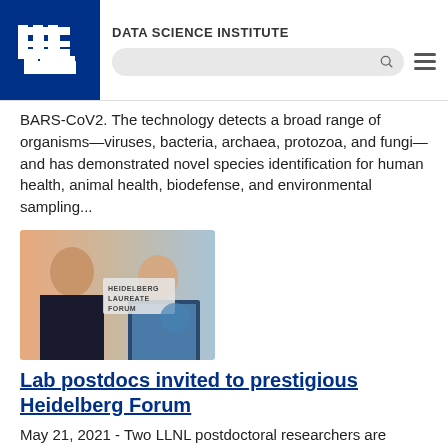DATA SCIENCE INSTITUTE
BARS-CoV2. The technology detects a broad range of organisms—viruses, bacteria, archaea, protozoa, and fungi—and has demonstrated novel species identification for human health, animal health, biodefense, and environmental sampling...
[Figure (photo): Two LLNL postdoctoral researchers photographed in front of a Heidelberg Laureate Forum banner/backdrop]
Lab postdocs invited to prestigious Heidelberg Forum
May 21, 2021 - Two LLNL postdoctoral researchers are among a select group of 200 scientists invited to attend the 8th Heidelberg Laureate Forum, an international conference that connects young researchers with laureates of the major